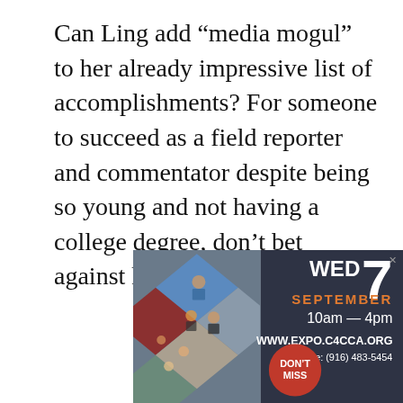Can Ling add “media mogul” to her already impressive list of accomplishments? For someone to succeed as a field reporter and commentator despite being so young and not having a college degree, don’t bet against her.
[Figure (photo): Advertisement for an expo event. Left side shows a photo collage of people at a community event arranged in diamond shapes. Right side has dark background with text: WED 7 SEPTEMBER 10am - 4pm, WWW.EXPO.C4CCA.ORG, Info Line: (916) 483-5454. A red circle badge reads DON'T MISS. Close button X in top right corner.]